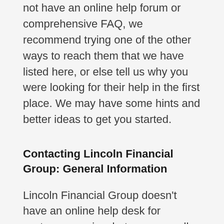not have an online help forum or comprehensive FAQ, we recommend trying one of the other ways to reach them that we have listed here, or else tell us why you were looking for their help in the first place. We may have some hints and better ideas to get you started.
Contacting Lincoln Financial Group: General Information
Lincoln Financial Group doesn't have an online help desk for customer service, but you can call them on the phone. You can only get help from Lincoln Financial Group one way that we know of and that is by phone. And again, if you didn't realize it was an option and you'd rather have a dialog with somebody, you can actually phone them. But check